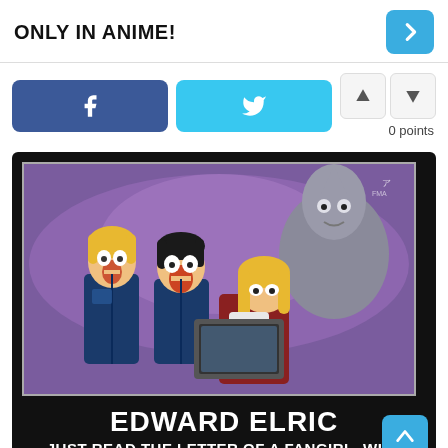ONLY IN ANIME!
[Figure (screenshot): Facebook share button (blue), Twitter share button (cyan), and vote up/down buttons with '0 points' label]
[Figure (photo): Anime meme image from Fullmetal Alchemist showing Edward Elric and other characters reacting to reading something. Black background with text 'EDWARD ELRIC' and 'JUST READ THE LETTER OF A FANGIRL, WHO']